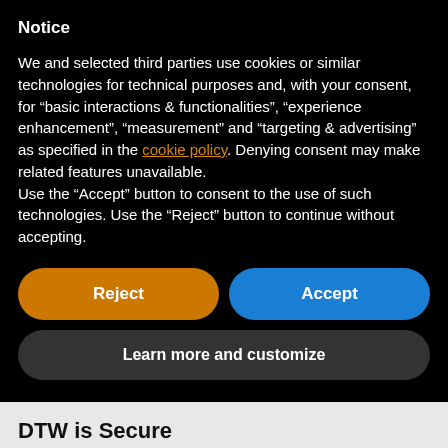Notice
We and selected third parties use cookies or similar technologies for technical purposes and, with your consent, for “basic interactions & functionalities”, “experience enhancement”, “measurement” and “targeting & advertising” as specified in the cookie policy. Denying consent may make related features unavailable.
Use the “Accept” button to consent to the use of such technologies. Use the “Reject” button to continue without accepting.
Reject
Accept
Learn more and customize
DTW is Secure
secured by